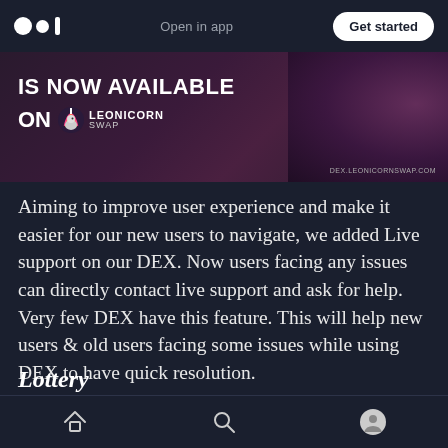Open in app | Get started
[Figure (illustration): Banner image showing 'IS NOW AVAILABLE ON LEONICORN SWAP' text over a dark purple/red gradient background with DEX.LEONICORNSWAP.COM URL]
Aiming to improve user experience and make it easier for our new users to navigate, we added Live support on our DEX. Now users facing any issues can directly contact live support and ask for help. Very few DEX have this feature. This will help new users & old users facing some issues while using DEX to have quick resolution.
Lottery
Home | Search | Profile navigation icons